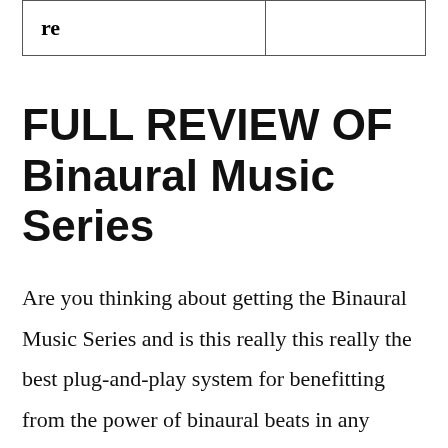| re |  |
FULL REVIEW OF Binaural Music Series
Are you thinking about getting the Binaural Music Series and is this really this really the best plug-and-play system for benefitting from the power of binaural beats in any aspect of your life? Through getting this series, members have been able to get the